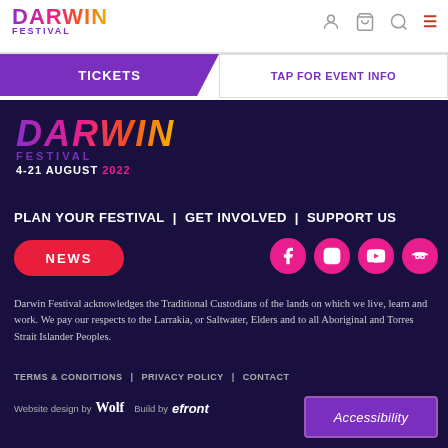[Figure (logo): Darwin Festival logo in header - multicolor gradient text DARWIN with FESTIVAL below]
TICKETS | TAP FOR EVENT INFO
[Figure (logo): Darwin Festival logo large - DARWIN in gradient italic, FESTIVAL, 4-21 AUGUST 2022]
PLAN YOUR FESTIVAL | GET INVOLVED | SUPPORT US
NEWS
[Figure (other): Social media icons: Facebook, Instagram, YouTube, TripAdvisor - pink circles]
Darwin Festival acknowledges the Traditional Custodians of the lands on which we live, learn and work. We pay our respects to the Larrakia, or Saltwater, Elders and to all Aboriginal and Torres Strait Islander Peoples.
TERMS & CONDITIONS | PRIVACY POLICY | CONTACT
Website design by Wolf Build by efront
Accessibility